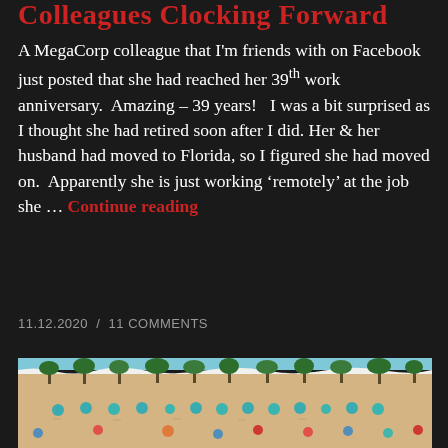Colleagues Clocking Forward
A MegaCorp colleague that I'm friends with on Facebook just posted that she had reached her 39th work anniversary.  Amazing – 39 years!   I was a bit surprised as I thought she had retired soon after I did. Her & her husband had moved to Florida, so I figured she had moved on.  Apparently she is just working 'remotely' at the job she … Continue reading
11.12.2020  /  11 COMMENTS
[Figure (photo): Aerial view of a beach with palm trees along the top edge and colorful beach umbrellas scattered across the sandy beach with ocean waves visible at top]